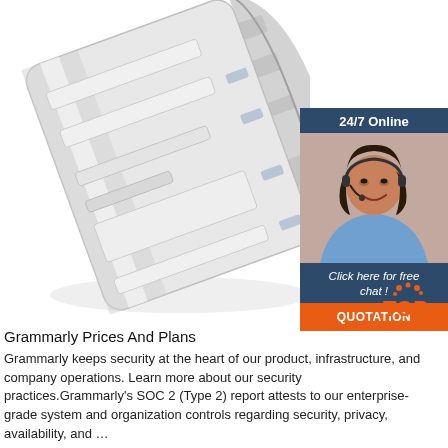[Figure (photo): A rolled/curved sheet of labels or paper, photographed at an angle with a metallic/white appearance, shown against a white background.]
[Figure (infographic): 24/7 Online chat widget showing a woman with headset, dark blue header reading '24/7 Online', footer text 'Click here for free chat!', and an orange button reading 'QUOTATION'.]
Grammarly Prices And Plans
Grammarly keeps security at the heart of our product, infrastructure, and company operations. Learn more about our security practices.Grammarly's SOC 2 (Type 2) report attests to our enterprise-grade system and organization controls regarding security, privacy, availability, and …